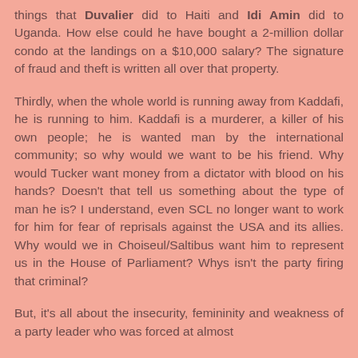things that Duvalier did to Haiti and Idi Amin did to Uganda. How else could he have bought a 2-million dollar condo at the landings on a $10,000 salary? The signature of fraud and theft is written all over that property.
Thirdly, when the whole world is running away from Kaddafi, he is running to him. Kaddafi is a murderer, a killer of his own people; he is wanted man by the international community; so why would we want to be his friend. Why would Tucker want money from a dictator with blood on his hands? Doesn't that tell us something about the type of man he is? I understand, even SCL no longer want to work for him for fear of reprisals against the USA and its allies. Why would we in Choiseul/Saltibus want him to represent us in the House of Parliament? Whys isn't the party firing that criminal?
But, it's all about the insecurity, femininity and weakness of a party leader who was forced at almost